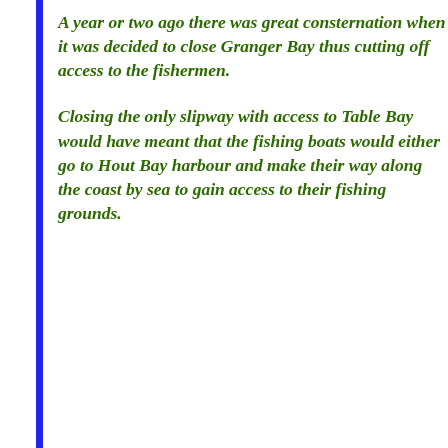A year or two ago there was great consternation when it was decided to close Granger Bay thus cutting off access to the fishermen.
Closing the only slipway with access to Table Bay would have meant that the fishing boats would either go to Hout Bay harbour and make their way along the coast by sea to gain access to their fishing grounds.